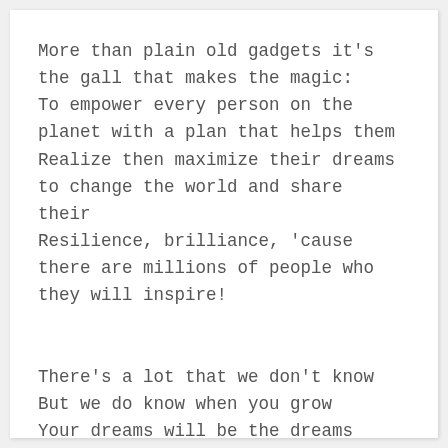More than plain old gadgets it's
the gall that makes the magic:
To empower every person on the
planet with a plan that helps them
Realize then maximize their dreams
to change the world and share
their
Resilience, brilliance, ‘cause
there are millions of people who
they will inspire!

There’s a lot that we don’t know
But we do know when you grow
Your dreams will be the dreams